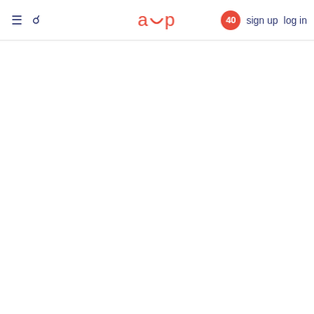≡  🔍  acp  40  sign up  log in